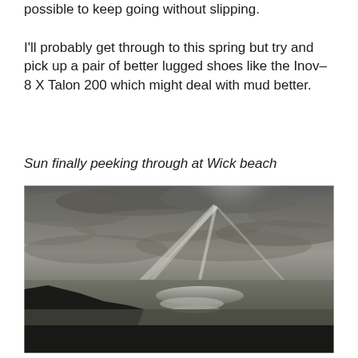possible to keep going without slipping.

I'll probably get through to this spring but try and pick up a pair of better lugged shoes like the Inov-8 X Talon 200 which might deal with mud better.
Sun finally peeking through at Wick beach
[Figure (photo): Black and white coastal photograph showing a dramatic scene of sun rays breaking through overcast clouds over the sea, with dark silhouetted cliffs/headland in the foreground and a bright reflection on the water below the beam of light.]